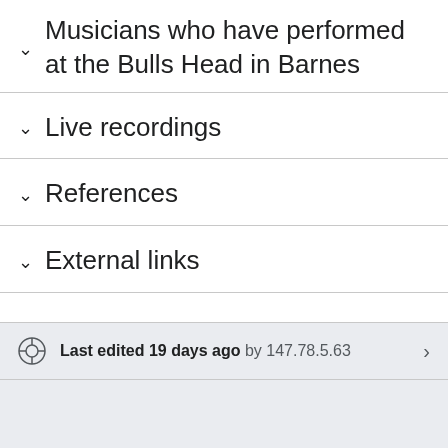Musicians who have performed at the Bulls Head in Barnes
Live recordings
References
External links
Last edited 19 days ago by 147.78.5.63